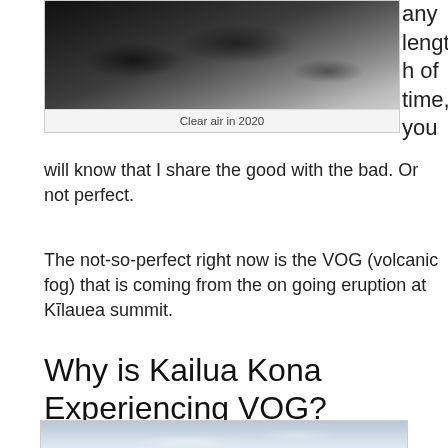[Figure (photo): Rocky lava coastline with clear air — photo labeled 'Clear air in 2020']
Clear air in 2020
any length of time, you will know that I share the good with the bad. Or not perfect.
The not-so-perfect right now is the VOG (volcanic fog) that is coming from the on going eruption at Kīlauea summit.
Why is Kailua Kona Experiencing VOG?
[Figure (photo): Sky with VOG/haze — pale blue-grey cloudy sky photograph]